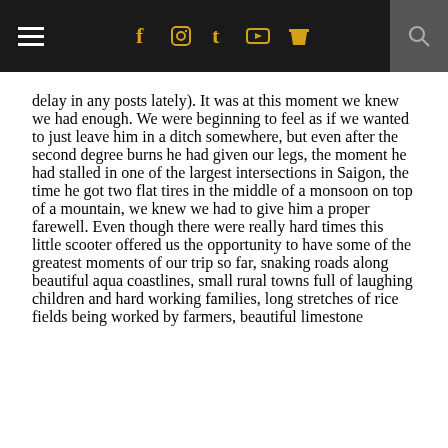≡ [social icons: facebook, instagram, tumblr, youtube, store] [search]
delay in any posts lately). It was at this moment we knew we had enough. We were beginning to feel as if we wanted to just leave him in a ditch somewhere, but even after the second degree burns he had given our legs, the moment he had stalled in one of the largest intersections in Saigon, the time he got two flat tires in the middle of a monsoon on top of a mountain, we knew we had to give him a proper farewell. Even though there were really hard times this little scooter offered us the opportunity to have some of the greatest moments of our trip so far, snaking roads along beautiful aqua coastlines, small rural towns full of laughing children and hard working families, long stretches of rice fields being worked by farmers, beautiful limestone